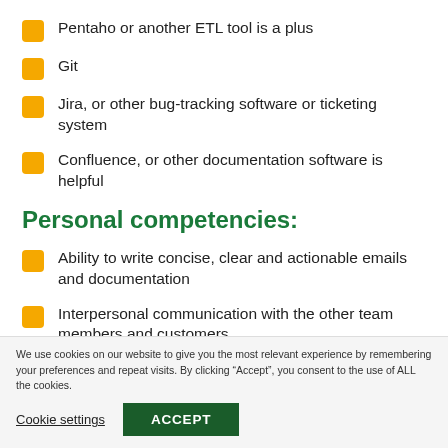Pentaho or another ETL tool is a plus
Git
Jira, or other bug-tracking software or ticketing system
Confluence, or other documentation software is helpful
Personal competencies:
Ability to write concise, clear and actionable emails and documentation
Interpersonal communication with the other team members and customers
Personal discipline with work and administration tasks
We use cookies on our website to give you the most relevant experience by remembering your preferences and repeat visits. By clicking “Accept”, you consent to the use of ALL the cookies.
Cookie settings   ACCEPT